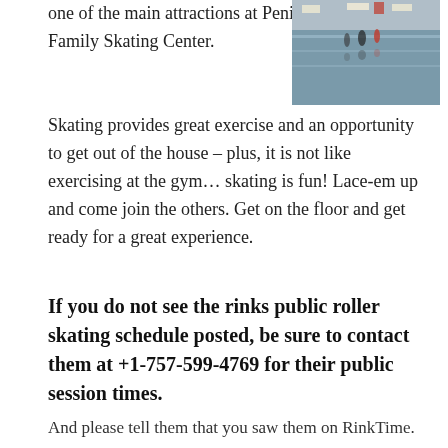one of the main attractions at Peninsula Family Skating Center.
[Figure (photo): Photo of an ice/roller skating rink interior with skaters and overhead lights reflected on the floor.]
Skating provides great exercise and an opportunity to get out of the house – plus, it is not like exercising at the gym… skating is fun! Lace-em up and come join the others. Get on the floor and get ready for a great experience.
If you do not see the rinks public roller skating schedule posted, be sure to contact them at +1-757-599-4769 for their public session times.
And please tell them that you saw them on RinkTime. And remind them to keep their schedule updated on the site.